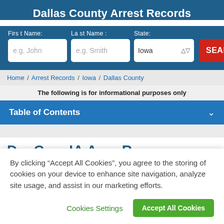Dallas County Arrest Records
First Name: e.g. John | Last Name: e.g. Smith | State: Iowa | SEARCH
Home / Arrest Records / Iowa / Dallas County
The following is for informational purposes only
Table of Contents
Dallas County IA Arrest Records
By clicking “Accept All Cookies”, you agree to the storing of cookies on your device to enhance site navigation, analyze site usage, and assist in our marketing efforts.
Cookies Settings
Accept All Cookies